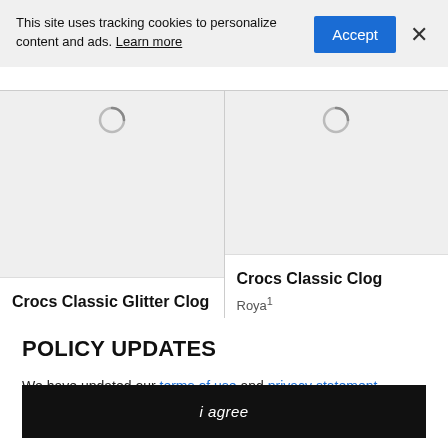This site uses tracking cookies to personalize content and ads. Learn more
Accept
[Figure (screenshot): Two product cards with loading spinners in image areas. Left card shows 'Crocs Classic Glitter Clog', right card shows 'Crocs Classic Clog' with partial text 'Roya' visible below.]
POLICY UPDATES
We have updated our terms of use and privacy statement. By continuing to use this site, you agree to these policies.
i agree